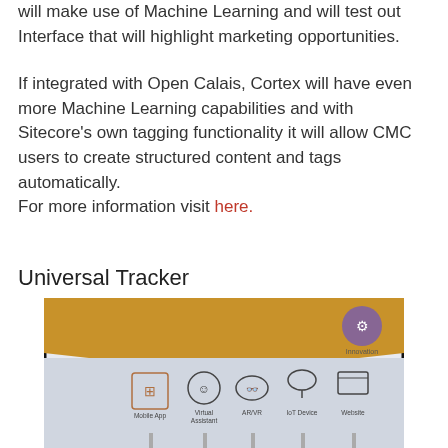will make use of Machine Learning and will test out Interface that will highlight marketing opportunities.
If integrated with Open Calais, Cortex will have even more Machine Learning capabilities and with Sitecore's own tagging functionality it will allow CMC users to create structured content and tags automatically.
For more information visit here.
Universal Tracker
[Figure (photo): A display screen showing icons for Mobile App, Virtual Assistant, AR/VR, IoT Device, and Website channels with an orange/gold decorative top section and an innovation icon in the upper right corner.]